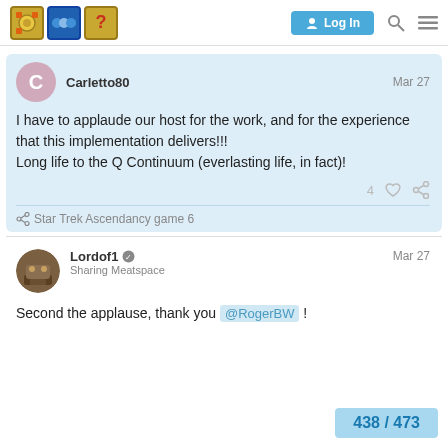Logo | Log In | Search | Menu
Carletto80   Mar 27
I have to applaude our host for the work, and for the experience that this implementation delivers!!!
Long life to the Q Continuum (everlasting life, in fact)!
4 ♡ 🔗
🔗 Star Trek Ascendancy game 6
Lordof1  Sharing Meatspace   Mar 27
Second the applause, thank you @RogerBW !
438 / 473